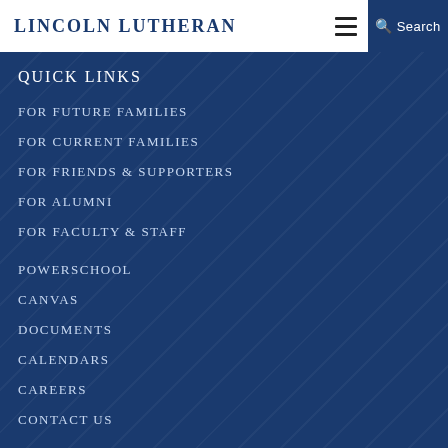Lincoln Lutheran
QUICK LINKS
FOR FUTURE FAMILIES
FOR CURRENT FAMILIES
FOR FRIENDS & SUPPORTERS
FOR ALUMNI
FOR FACULTY & STAFF
POWERSCHOOL
CANVAS
DOCUMENTS
CALENDARS
CAREERS
CONTACT US